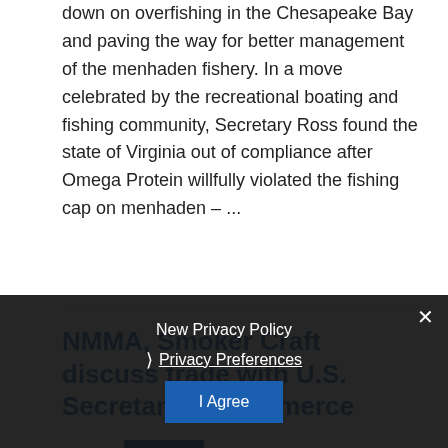down on overfishing in the Chesapeake Bay and paving the way for better management of the menhaden fishery. In a move celebrated by the recreational boating and fishing community, Secretary Ross found the state of Virginia out of compliance after Omega Protein willfully violated the fishing cap on menhaden – ...
Read More »
NMMA, Smoker Craft discuss trade with U.S. Secretary of Commerce
New Privacy Policy
Privacy Preferences
I Agree